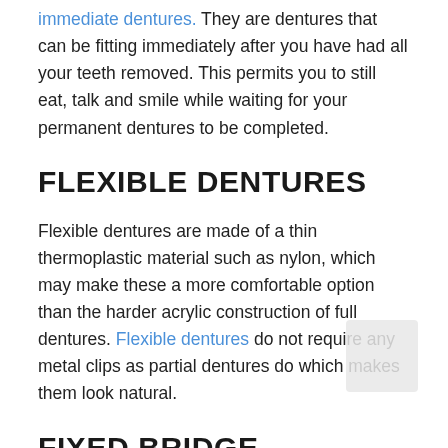immediate dentures. They are dentures that can be fitting immediately after you have had all your teeth removed. This permits you to still eat, talk and smile while waiting for your permanent dentures to be completed.
FLEXIBLE DENTURES
Flexible dentures are made of a thin thermoplastic material such as nylon, which may make these a more comfortable option than the harder acrylic construction of full dentures. Flexible dentures do not require any metal clips as partial dentures do which makes them look natural.
FIXED BRIDGE
Another way to replace missing teeth is with a